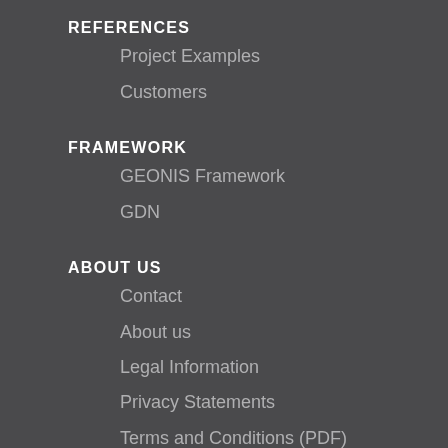REFERENCES
Project Examples
Customers
FRAMEWORK
GEONIS Framework
GDN
ABOUT US
Contact
About us
Legal Information
Privacy Statements
Terms and Conditions (PDF)